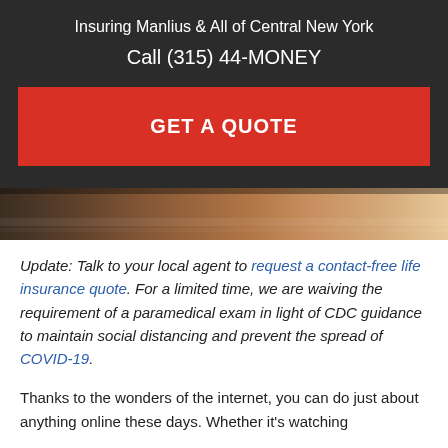Insuring Manlius & All of Central New York
Call (315) 44-MONEY
GET A QUOTE
[Figure (photo): Partial photo visible — appears to show a wooden surface or desk in warm brown tones, cropped at top]
Update: Talk to your local agent to request a contact-free life insurance quote. For a limited time, we are waiving the requirement of a paramedical exam in light of CDC guidance to maintain social distancing and prevent the spread of COVID-19.
Thanks to the wonders of the internet, you can do just about anything online these days. Whether it's watching